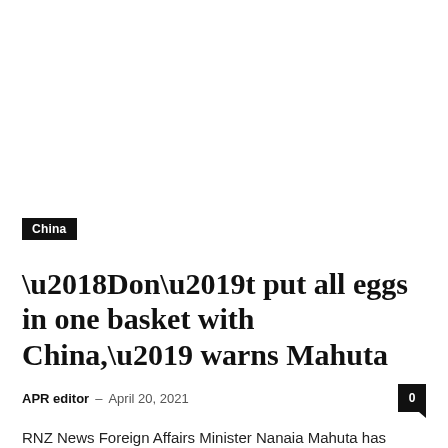China
‘Don’t put all eggs in one basket with China,’ warns Mahuta
APR editor – April 20, 2021
RNZ News Foreign Affairs Minister Nanaia Mahuta has urged New Zealand to diversify its trade arrangements and not put all its eggs in one basket...